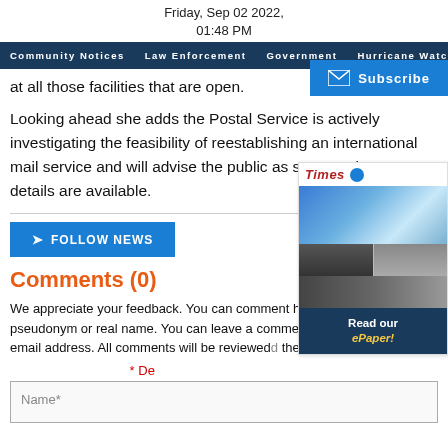Friday, Sep 02 2022, 01:48 PM
Community Notices  Law Enforcement  Government  Hurricane Watch  CO...
at all those facilities that are open.
Looking ahead she adds the Postal Service is actively investigating the feasibility of reestablishing an international mail service and will advise the public as soon as those details are available.
FOLLOW NEWS
Comments (0)
We appreciate your feedback. You can comment here with your pseudonym or real name. You can leave a comment with entering an email address. All comments will be reviewed they are published.
* De...
Name*